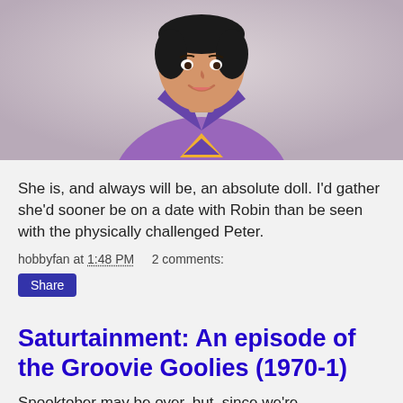[Figure (illustration): Animated cartoon character: a young woman/girl with dark hair wearing a purple superhero costume with a yellow triangular logo on the chest and a purple collar, smiling, against a light pinkish-gray background.]
She is, and always will be, an absolute doll. I'd gather she'd sooner be on a date with Robin than be seen with the physically challenged Peter.
hobbyfan at 1:48 PM    2 comments:
Share
Saturtainment: An episode of the Groovie Goolies (1970-1)
Spooktober may be over, but, since we're discontinuing our